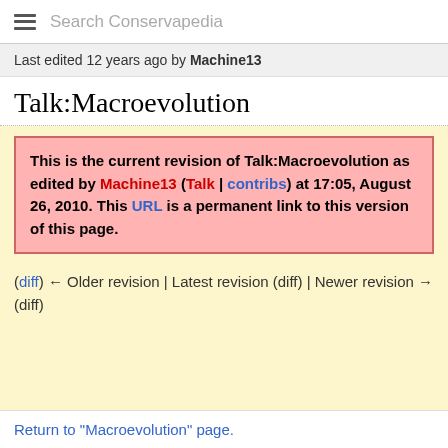Search Conservapedia
Last edited 12 years ago by Machine13
Talk:Macroevolution
This is the current revision of Talk:Macroevolution as edited by Machine13 (Talk | contribs) at 17:05, August 26, 2010. This URL is a permanent link to this version of this page.
(diff) ← Older revision | Latest revision (diff) | Newer revision → (diff)
Return to "Macroevolution" page.